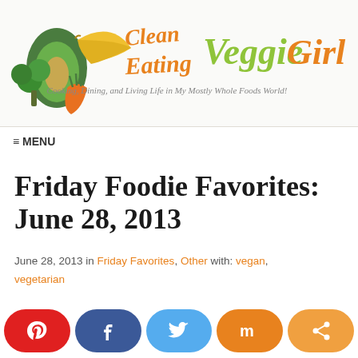[Figure (logo): Clean Eating Veggie Girl blog logo with illustrated vegetables and cursive/handwritten text. Text reads: 'Clean Eating Veggie Girl - Cooking, Dining, and Living Life in My Mostly Whole Foods World!']
≡ MENU
Friday Foodie Favorites: June 28, 2013
June 28, 2013 in Friday Favorites, Other with: vegan, vegetarian
[Figure (infographic): Social sharing buttons row: Pinterest (red), Facebook (dark blue), Twitter (light blue), StumbleUpon (orange), Share (amber)]